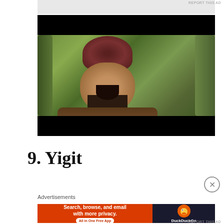[Figure (photo): A man wearing a dark red/maroon turban, dressed in leather armor, shouting with mouth wide open, set against a forest background. The image has black bars at top and bottom (letterbox format). Appears to be a still from a historical or fantasy film/TV show.]
9. Yigit
Advertisements
[Figure (screenshot): DuckDuckGo advertisement banner. Left side has orange/red background with white text: 'Search, browse, and email with more privacy.' and a white button 'All in One Free App'. Right side has dark navy background with the DuckDuckGo duck logo and 'DuckDuckGo' text.]